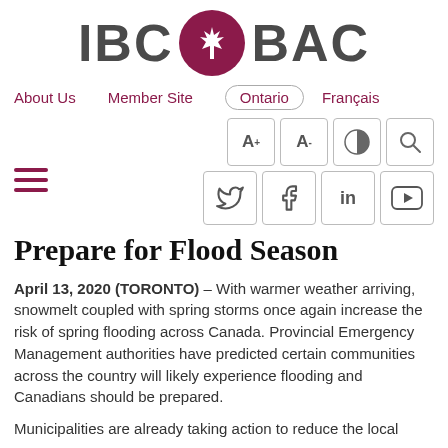[Figure (logo): IBC BAC logo with maple leaf in maroon circle between the two abbreviations]
About Us   Member Site   Ontario   Français
[Figure (infographic): Toolbar icons: A+ A- contrast toggle and search, plus social media icons for Twitter, Facebook, LinkedIn, YouTube]
Prepare for Flood Season
April 13, 2020 (TORONTO) – With warmer weather arriving, snowmelt coupled with spring storms once again increase the risk of spring flooding across Canada. Provincial Emergency Management authorities have predicted certain communities across the country will likely experience flooding and Canadians should be prepared.
Municipalities are already taking action to reduce the local